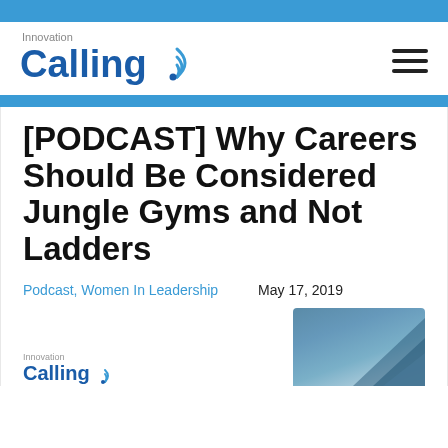[Figure (logo): Innovation Calling podcast logo with blue wifi/signal icon]
[PODCAST] Why Careers Should Be Considered Jungle Gyms and Not Ladders
Podcast, Women In Leadership   May 17, 2019
[Figure (illustration): Partial preview of article thumbnail showing Innovation Calling logo and a blue geometric shape]